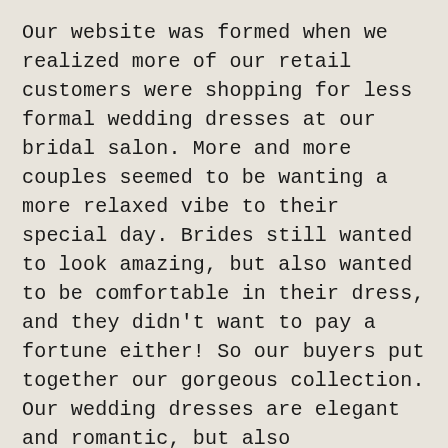Our website was formed when we realized more of our retail customers were shopping for less formal wedding dresses at our bridal salon. More and more couples seemed to be wanting a more relaxed vibe to their special day. Brides still wanted to look amazing, but also wanted to be comfortable in their dress, and they didn't want to pay a fortune either! So our buyers put together our gorgeous collection. Our wedding dresses are elegant and romantic, but also comfortable and affordable. Our bridesmaids dresses come in beautiful colors and flattering styles.  We also carry samples for bridesmaids in every size in our retail store, so you can pick the size you want by trying it on. Our delivery time for almost all dresses is about 3 weeks, instead of 3 long months. We also offer exchanges and returns. We also carry traditional formal style wedding gowns, with the same quick shipping times of 3 to 4 weeks, and our prices are the best, because we believe weddings should be fun, not a fortune!